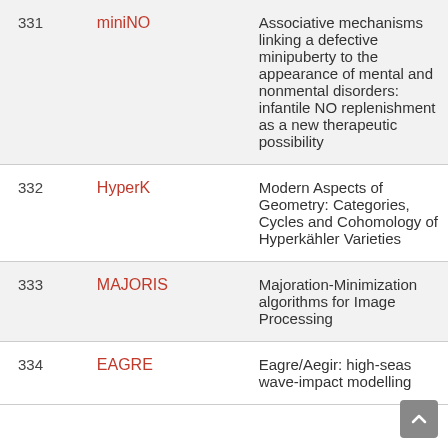| # | Code | Title |
| --- | --- | --- |
| 331 | miniNO | Associative mechanisms linking a defective minipuberty to the appearance of mental and nonmental disorders: infantile NO replenishment as a new therapeutic possibility |
| 332 | HyperK | Modern Aspects of Geometry: Categories, Cycles and Cohomology of Hyperkähler Varieties |
| 333 | MAJORIS | Majoration-Minimization algorithms for Image Processing |
| 334 | EAGRE | Eagre/Aegir: high-seas wave-impact modelling |